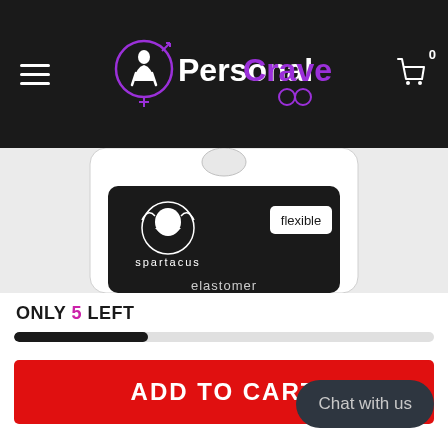Personal Crave – navigation header with hamburger menu, logo, and cart icon (0 items)
[Figure (photo): Product shot of Spartacus brand elastomer cock ring in clear blister packaging. The package shows the Spartacus helmet logo, the word 'flexible' on a white label, and the word 'elastomer' visible at the bottom. Background is light gray.]
ONLY 5 LEFT
[Figure (infographic): Stock level progress bar showing approximately 32% remaining, black fill on light gray background.]
ADD TO CART
Chat with us